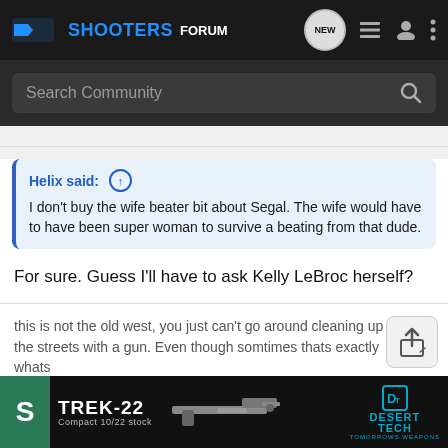SHOOTERS FORUM
Search Community
Helix said: ↑
I don't buy the wife beater bit about Segal. The wife would have to have been super woman to survive a beating from that dude.
For sure. Guess I'll have to ask Kelly LeBroc herself?
this is not the old west, you just can't go around cleaning up the streets with a gun. Even though somtimes thats exactly whats
[Figure (screenshot): Ad banner for TREK-22 Compact 10/22 stock by Desert Tech - Tomorrow's Weapons]